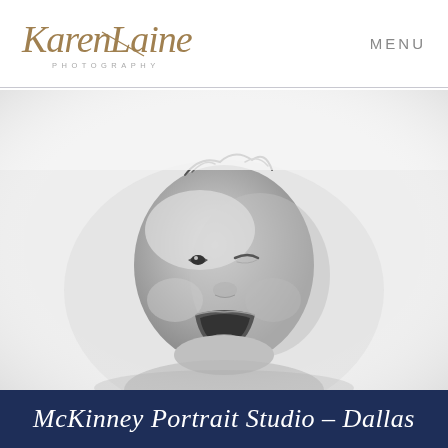[Figure (logo): Karen Laine Photography logo - cursive script in gold/brown color with PHOTOGRAPHY in small caps beneath]
MENU
[Figure (photo): Black and white portrait photo of a baby yawning, head tilted, lying on a white background]
McKinney Portrait Studio – Dallas